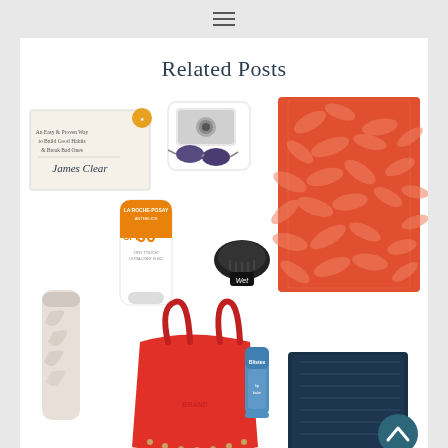≡
Related Posts
[Figure (photo): Collage of summer/lifestyle products: James Clear book (Atomic Habits), white Polaroid camera with sunglasses, orange tropical-print beach towel, La Roche-Posay SPF 60 sunscreen tube, black hairbrush (Wet Brush), marble/white S'well water bottle, red leather tote bag, blue Blistex lip balm, navy beach chair, and a teal scroll-to-top button]